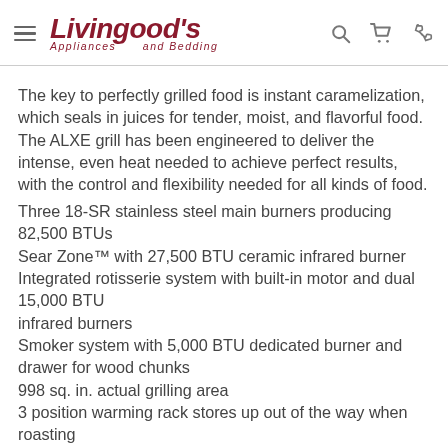Livingood's Appliances and Bedding
The key to perfectly grilled food is instant caramelization, which seals in juices for tender, moist, and flavorful food. The ALXE grill has been engineered to deliver the intense, even heat needed to achieve perfect results, with the control and flexibility needed for all kinds of food.
Three 18-SR stainless steel main burners producing 82,500 BTUs
Sear Zone™ with 27,500 BTU ceramic infrared burner
Integrated rotisserie system with built-in motor and dual 15,000 BTU infrared burners
Smoker system with 5,000 BTU dedicated burner and drawer for wood chunks
998 sq. in. actual grilling area
3 position warming rack stores up out of the way when roasting
Dual integrated high-intensity halogen work lights